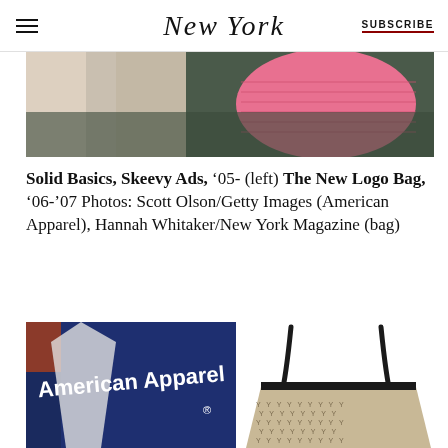NEW YORK | SUBSCRIBE
[Figure (photo): Top portion of a photo showing legs in a sheer skirt and a pink object on a dark surface]
Solid Basics, Skeevy Ads, '05- (left) The New Logo Bag, '06-'07 Photos: Scott Olson/Getty Images (American Apparel), Hannah Whitaker/New York Magazine (bag)
[Figure (photo): Left: American Apparel storefront sign in white text on navy blue background. Right: A Goyard-style patterned tote bag with black leather handles on white background.]